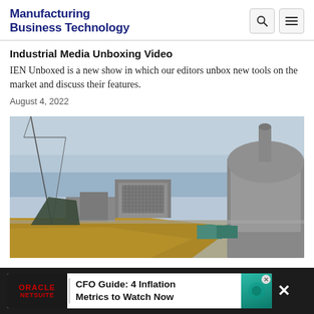Manufacturing Business Technology
Industrial Media Unboxing Video
IEN Unboxed is a new show in which our editors unbox new tools on the market and discuss their features.
August 4, 2022
[Figure (photo): Aerial/hillside view of a nuclear power plant facility near the ocean, showing large concrete domed reactor building, multi-story office/industrial buildings, and coastal hillside with dry grass in the foreground.]
ORACLE NETSUITE | CFO Guide: 4 Inflation Metrics to Watch Now